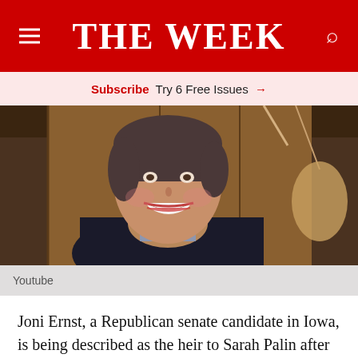THE WEEK
Subscribe Try 6 Free Issues →
[Figure (photo): Woman smiling, wearing a dark jacket and plaid shirt with a scarf, photographed indoors in a barn-like setting]
Youtube
Joni Ernst, a Republican senate candidate in Iowa, is being described as the heir to Sarah Palin after releasing a campaign video in which she boasts of